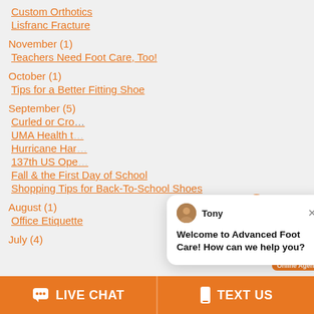Custom Orthotics
Lisfranc Fracture
November (1)
Teachers Need Foot Care, Too!
October (1)
Tips for a Better Fitting Shoe
September (5)
Curled or Cro…
UMA Health t…
Hurricane Har…
137th US Ope…
Fall & the First Day of School
Shopping Tips for Back-To-School Shoes
August (1)
Office Etiquette
July (4)
[Figure (screenshot): Chat popup from Tony at Advanced Foot Care with message: Welcome to Advanced Foot Care! How can we help you? Also shows online agent photo with notification badge and Online Agent label.]
LIVE CHAT
TEXT US